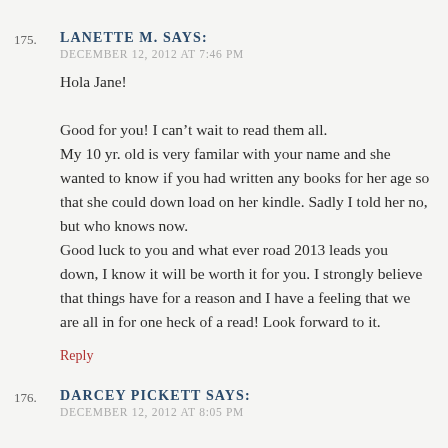175. LANETTE M. SAYS:
DECEMBER 12, 2012 AT 7:46 PM
Hola Jane!

Good for you! I can’t wait to read them all.
My 10 yr. old is very familar with your name and she wanted to know if you had written any books for her age so that she could down load on her kindle. Sadly I told her no, but who knows now.
Good luck to you and what ever road 2013 leads you down, I know it will be worth it for you. I strongly believe that things have for a reason and I have a feeling that we are all in for one heck of a read! Look forward to it.
Reply
176. DARCEY PICKETT SAYS:
DECEMBER 12, 2012 AT 8:05 PM